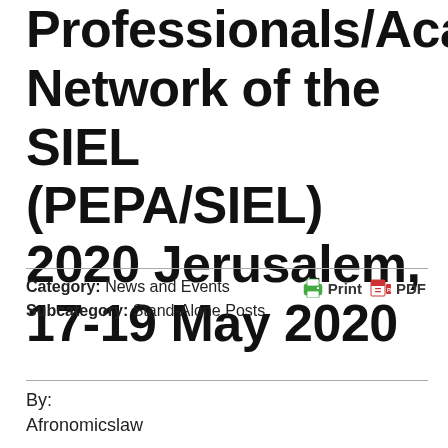Professionals/Academics Network of the SIEL (PEPA/SIEL) 2020 Jerusalem, 17-19 May 2020
Category:  News and Events
Subcategory:  Stand-Alone Posts
By:
Afronomicslaw